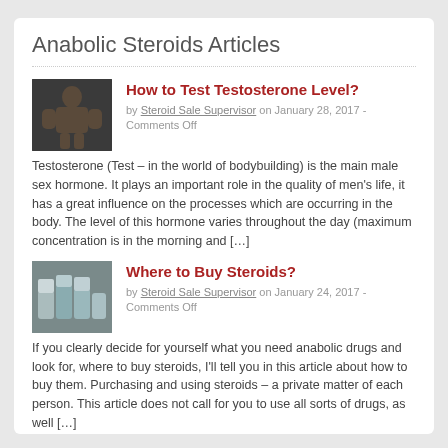Anabolic Steroids Articles
How to Test Testosterone Level?
by Steroid Sale Supervisor on January 28, 2017 - Comments Off
Testosterone (Test – in the world of bodybuilding) is the main male sex hormone. It plays an important role in the quality of men's life, it has a great influence on the processes which are occurring in the body. The level of this hormone varies throughout the day (maximum concentration is in the morning and […]
Where to Buy Steroids?
by Steroid Sale Supervisor on January 24, 2017 - Comments Off
If you clearly decide for yourself what you need anabolic drugs and look for, where to buy steroids, I'll tell you in this article about how to buy them. Purchasing and using steroids – a private matter of each person. This article does not call for you to use all sorts of drugs, as well […]
Dianabol Cycle for Beginners
by Steroid Sale Supervisor on December 21, 2016 - Comments Off